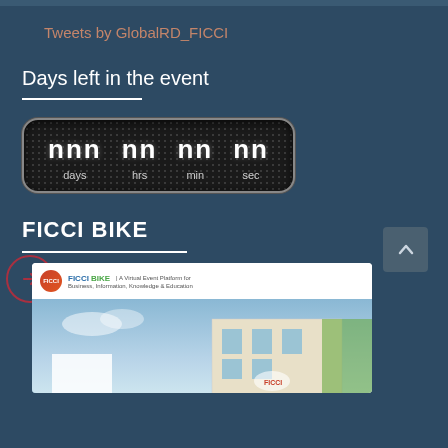Tweets by GlobalRD_FICCI
Days left in the event
[Figure (other): Countdown timer display showing days, hrs, min, sec on a dark carbon-fiber style background with rounded rectangle border]
FICCI BIKE
[Figure (screenshot): Screenshot of FICCI BIKE website showing logo, header with tagline 'A Virtual Event Platform for Business Information Knowledge & Education', and a building/venue photo]
[Figure (other): Arrow circle button (navigation) and back-to-top chevron button on right side]